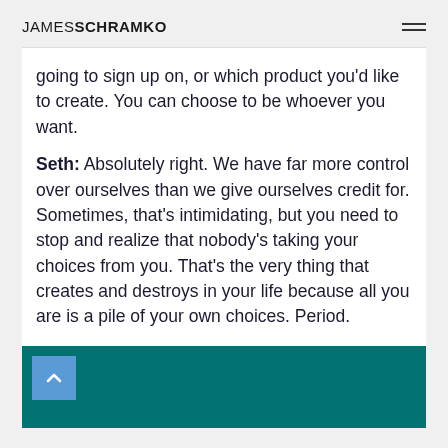JAMES SCHRAMKO
going to sign up on, or which product you'd like to create. You can choose to be whoever you want.
Seth: Absolutely right. We have far more control over ourselves than we give ourselves credit for. Sometimes, that's intimidating, but you need to stop and realize that nobody's taking your choices from you. That's the very thing that creates and destroys in your life because all you are is a pile of your own choices. Period.
[Figure (other): Teal/dark green banner with a blue scroll-to-top button showing an upward chevron arrow]